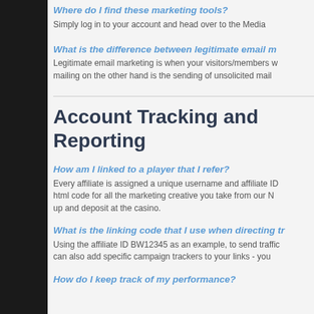Where do I find these marketing tools?
Simply log in to your account and head over to the Media
What is the difference between legitimate email m...
Legitimate email marketing is when your visitors/members w... mailing on the other hand is the sending of unsolicited mail...
Account Tracking and Reporting
How am I linked to a player that I refer?
Every affiliate is assigned a unique username and affiliate ID... html code for all the marketing creative you take from our M... up and deposit at the casino.
What is the linking code that I use when directing tr...
Using the affiliate ID BW12345 as an example, to send traffic... can also add specific campaign trackers to your links - you...
How do I keep track of my performance?